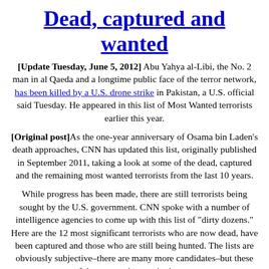Dead, captured and wanted
[Update Tuesday, June 5, 2012] Abu Yahya al-Libi, the No. 2 man in al Qaeda and a longtime public face of the terror network, has been killed by a U.S. drone strike in Pakistan, a U.S. official said Tuesday. He appeared in this list of Most Wanted terrorists earlier this year.
[Original post]As the one-year anniversary of Osama bin Laden's death approaches, CNN has updated this list, originally published in September 2011, taking a look at some of the dead, captured and the remaining most wanted terrorists from the last 10 years.
While progress has been made, there are still terrorists being sought by the U.S. government. CNN spoke with a number of intelligence agencies to come up with this list of "dirty dozens." Here are the 12 most significant terrorists who are now dead, have been captured and those who are still being hunted. The lists are obviously subjective–there are many more candidates–but these are some of the top combatants in the war on terror.
MOST WANTED: